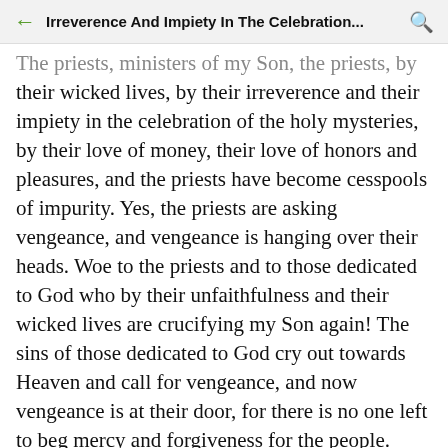Irreverence And Impiety In The Celebration...
The priests, ministers of my Son, the priests, by their wicked lives, by their irreverence and their impiety in the celebration of the holy mysteries, by their love of money, their love of honors and pleasures, and the priests have become cesspools of impurity. Yes, the priests are asking vengeance, and vengeance is hanging over their heads. Woe to the priests and to those dedicated to God who by their unfaithfulness and their wicked lives are crucifying my Son again! The sins of those dedicated to God cry out towards Heaven and call for vengeance, and now vengeance is at their door, for there is no one left to beg mercy and forgiveness for the people. There are no more generous souls; there is no one left worthy of offering a stainless sacrifice to the Eternal for the sake of the world. Our Lady of La Salette 19 Sept. 1846 (Published by Mélanie, 1879)